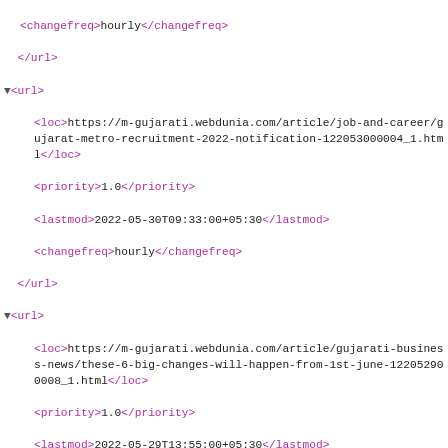XML sitemap content showing URL entries with loc, priority, lastmod, and changefreq tags for m-gujarati.webdunia.com articles
<changefreq>hourly</changefreq>
</url>
▼<url>
  <loc>https://m-gujarati.webdunia.com/article/job-and-career/gujarat-metro-recruitment-2022-notification-122053000004_1.html</loc>
  <priority>1.0</priority>
  <lastmod>2022-05-30T09:33:00+05:30</lastmod>
  <changefreq>hourly</changefreq>
</url>
▼<url>
  <loc>https://m-gujarati.webdunia.com/article/gujarati-business-news/these-6-big-changes-will-happen-from-1st-june-122052900008_1.html</loc>
  <priority>1.0</priority>
  <lastmod>2022-05-29T13:55:00+05:30</lastmod>
  <changefreq>hourly</changefreq>
</url>
▼<url>
  <loc>https://m-gujarati.webdunia.com/article/gujarati-business-news/over-100-percent-increase-in-fake-rs-500-notes-counterfeit-rs-2000-currency-notes-up-over-50-pc-rbi-report-nodvkj-1220528000018_1.html</loc>
  <priority>1.0</priority>
  <lastmod>2022-05-28T19:19:00+05:30</lastmod>
  <changefreq>hourly</changefreq>
</url>
▼<url>
  <loc>https://m-